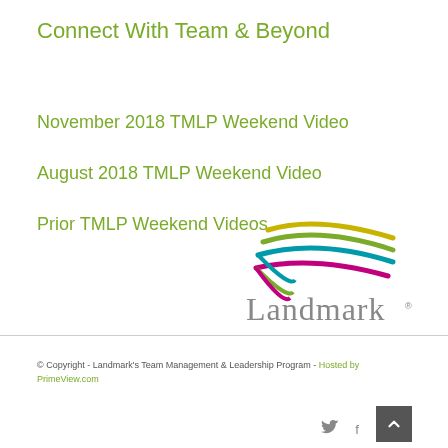Connect With Team & Beyond
November 2018 TMLP Weekend Video
August 2018 TMLP Weekend Video
Prior TMLP Weekend Videos
[Figure (logo): Landmark logo with colorful swoosh lines above the word Landmark with registered trademark symbol]
© Copyright - Landmark's Team Management & Leadership Program - Hosted by PrimeView.com